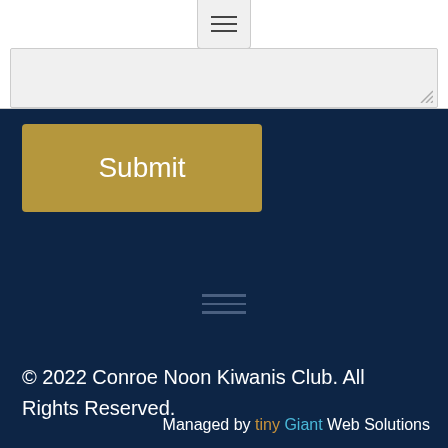[Figure (screenshot): Top portion of a web form with a textarea input field and a hamburger menu icon visible at the top center.]
Submit
[Figure (screenshot): Footer navigation area with a hamburger menu icon centered.]
© 2022 Conroe Noon Kiwanis Club. All Rights Reserved.
Managed by tiny Giant Web Solutions